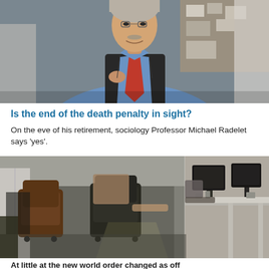[Figure (photo): Portrait photo of an older man with grey hair and mustache, wearing a blue dress shirt, red tie, and dark jacket, standing in front of a bulletin board/office background, smiling]
Is the end of the death penalty in sight?
On the eve of his retirement, sociology Professor Michael Radelet says ‘yes’.
[Figure (photo): Office scene showing people sitting in chairs at desks in an open office environment, with computers and office equipment visible, natural light coming through]
At little at the new world order changed as off